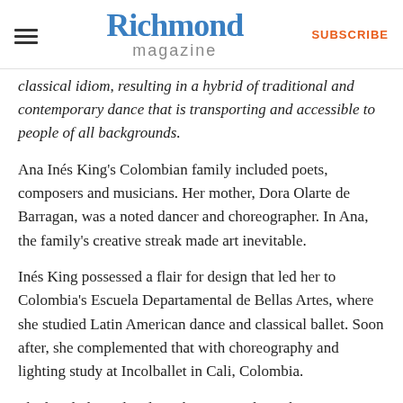Richmond magazine | SUBSCRIBE
classical idiom, resulting in a hybrid of traditional and contemporary dance that is transporting and accessible to people of all backgrounds.
Ana Inés King's Colombian family included poets, composers and musicians. Her mother, Dora Olarte de Barragan, was a noted dancer and choreographer. In Ana, the family's creative streak made art inevitable.
Inés King possessed a flair for design that led her to Colombia's Escuela Departamental de Bellas Artes, where she studied Latin American dance and classical ballet. Soon after, she complemented that with choreography and lighting study at Incolballet in Cali, Colombia.
She lived, danced and taught in several South American